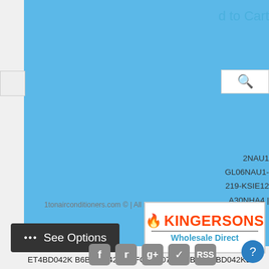[Figure (screenshot): Blue navigation/dropdown area with arrow indicators on right side]
2NAU1
GL06NAU1-
219-KSIE12
A30NHA4 |
ET4BD042K B6BMM042KB | FG7SA072C24B | JS4BD042KB B6EMMX42KB | AJEQ08ACF | MSZ-GL24NA-U1 | MXZ4C36NA2 MFZKJ12NA-12k-12k-12k | 13AJN42A01 RHLLHM4821JA | RANL024JAZ RHLLHM2417JA | RSNMA036JK000 | 13PJL42A01 RBHP24J11SH4 |
1tonairconditioners.com © | All rights reserved | SiteMap
[Figure (logo): KINGERSONS Wholesale Direct logo]
[Figure (screenshot): See Options button with ellipsis dots]
[Figure (screenshot): Social media icons: Facebook, Twitter, Google+, Pinterest, RSS]